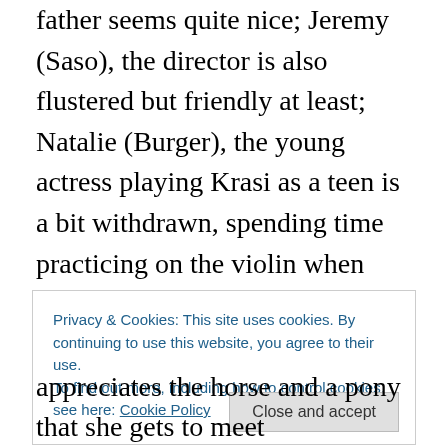father seems quite nice; Jeremy (Saso), the director is also flustered but friendly at least; Natalie (Burger), the young actress playing Krasi as a teen is a bit withdrawn, spending time practicing on the violin when she's not texting her friends but is more focused on schoolwork and getting into college than on picking Krasi's brain for insights which Andy is more prone to doing. Andy takes Krasi to a beautiful urban park in Lexington which she appreciates but his invitation to dinner seem to create a distance between them.
Privacy & Cookies: This site uses cookies. By continuing to use this website, you agree to their use. To find out more, including how to control cookies, see here: Cookie Policy
appreciates the horse and a pony that she gets to meet